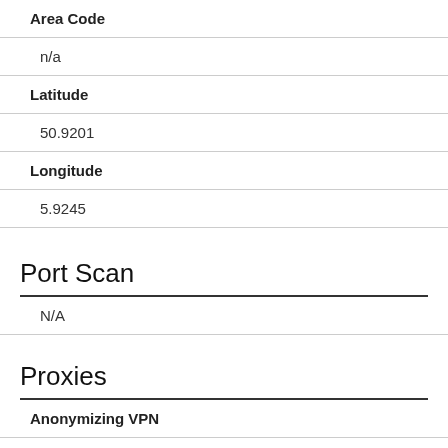Area Code
n/a
Latitude
50.9201
Longitude
5.9245
Port Scan
N/A
Proxies
Anonymizing VPN